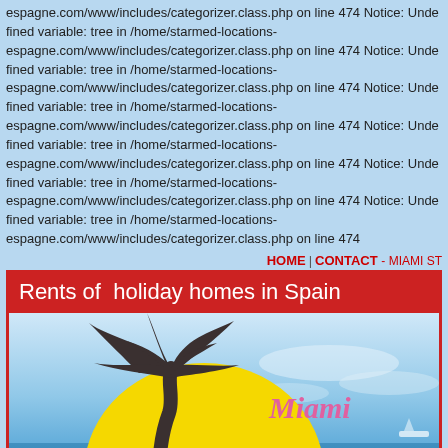espagne.com/www/includes/categorizer.class.php on line 474 Notice: Undefined variable: tree in /home/starmed-locations-espagne.com/www/includes/categorizer.class.php on line 474 Notice: Undefined variable: tree in /home/starmed-locations-espagne.com/www/includes/categorizer.class.php on line 474 Notice: Undefined variable: tree in /home/starmed-locations-espagne.com/www/includes/categorizer.class.php on line 474 Notice: Undefined variable: tree in /home/starmed-locations-espagne.com/www/includes/categorizer.class.php on line 474 Notice: Undefined variable: tree in /home/starmed-locations-espagne.com/www/includes/categorizer.class.php on line 474 Notice: Undefined variable: tree in /home/starmed-locations-espagne.com/www/includes/categorizer.class.php on line 474
HOME | CONTACT - MIAMI ST
Rents of holiday homes in Spain
[Figure (logo): Miami Star Loc logo with palm tree silhouette on yellow sun circle, pink cursive text reading Miami Star Loc, against blue sky and sea background]